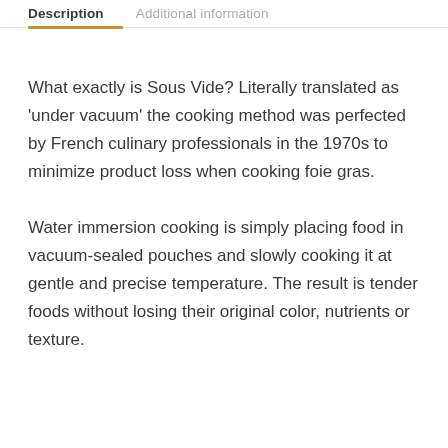Description | Additional information
What exactly is Sous Vide? Literally translated as 'under vacuum' the cooking method was perfected by French culinary professionals in the 1970s to minimize product loss when cooking foie gras.
Water immersion cooking is simply placing food in vacuum-sealed pouches and slowly cooking it at gentle and precise temperature. The result is tender foods without losing their original color, nutrients or texture.